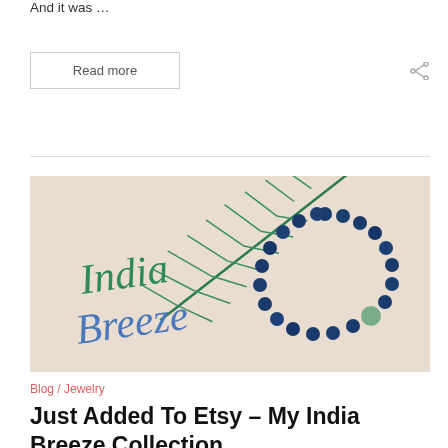And it was …
Read more
[Figure (illustration): India Breeze jewelry collection promotional image showing a beaded bracelet with dark blue/teal pearls and a jade-like bead, with 'India Breeze' written in decorative script over a background featuring a tropical leaf illustration.]
Blog / Jewelry
Just Added To Etsy – My India Breeze Collection